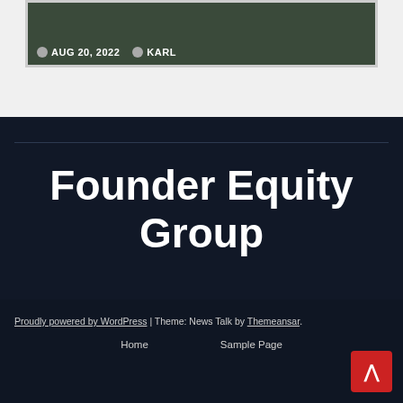AUG 20, 2022  KARL
Founder Equity Group
Proudly powered by WordPress | Theme: News Talk by Themeansar.
Home  Sample Page